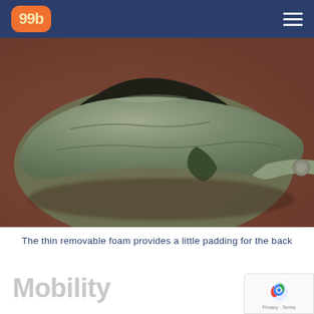[Figure (logo): 99b logo with orange rounded rectangle background and white/cream text]
[Figure (photo): Close-up photo of a green/olive military-style bag with removable foam padding on a reddish-brown surface]
The thin removable foam provides a little padding for the back
Mobility